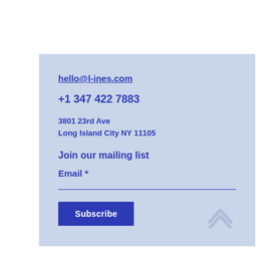hello@l-ines.com
+1 347 422 7883
3801 23rd Ave
Long Island City NY 11105
Join our mailing list
Email *
[Figure (other): Subscribe button and upward chevron arrow icon]
Subscribe